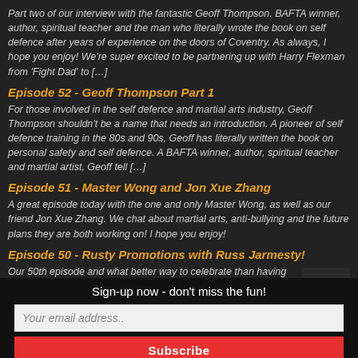Part two of our interview with the fantastic Geoff Thompson. BAFTA winner, author, spiritual teacher and the man who literally wrote the book on self defence after years of experience on the doors of Coventry. As always, I hope you enjoy! We're super excited to be partnering up with Harry Flexman from 'Fight Dad' to […]
Episode 52 - Geoff Thompson Part 1
For those involved in the self defence and martial arts industry, Geoff Thompson shouldn't be a name that needs an introduction. A pioneer of self defence training in the 80s and 90s, Geoff has literally written the book on personal safety and self defence. A BAFTA winner, author, spiritual teacher and martial artist, Geoff tell […]
Episode 51 - Master Wong and Jon Xue Zhang
A great episode today with the one and only Master Wong, as well as our friend Jon Xue Zhang. We chat about martial arts, anti-bullying and the future plans they are both working on! I hope you enjoy!
Episode 50 - Rusty Promotions with Russ Jarmesty!
Our 50th episode and what better way to celebrate than having our old friend back on - Russ Jarmesty, the brutal bouncer himself. We chat about his new project, plan March 2022 and trust me, it's going to be amazing!
Sign-up now - don't miss the fun!
Your email address..
Subscribe